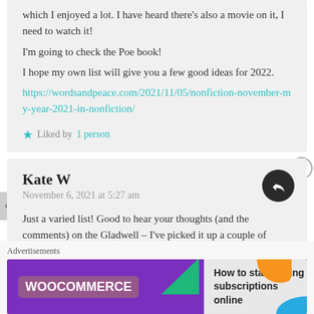which I enjoyed a lot. I have heard there's also a movie on it, I need to watch it!
I'm going to check the Poe book!
I hope my own list will give you a few good ideas for 2022.
https://wordsandpeace.com/2021/11/05/nonfiction-november-my-year-2021-in-nonfiction/
Liked by 1 person
Kate W
November 6, 2021 at 5:27 am
Just a varied list! Good to hear your thoughts (and the comments) on the Gladwell – I've picked it up a couple of times but haven't got into it. Might be one to
Advertisements
How to start selling subscriptions online